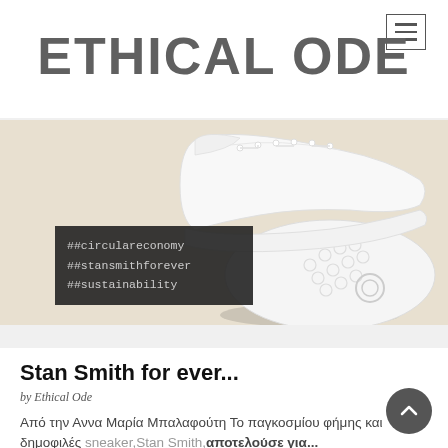ETHICAL ODE
[Figure (photo): White Adidas Stan Smith sneakers photographed against a beige/cream background, showing the side profile and sole of the shoe.]
##circulareconomy ##stansmithforever ##sustainability
Stan Smith for ever...
by Ethical Ode
Από την Αννα Μαρία Μπαλαφούτη Το παγκοσμίου φήμης και δημοφιλές sneaker,Stan Smith,αποτελούσε για...